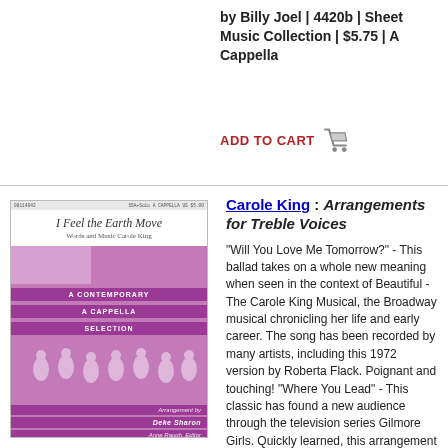by Billy Joel | 4420b | Sheet Music Collection | $5.75 | A Cappella
ADD TO CART
[Figure (illustration): Sheet music cover for 'I Feel the Earth Move' by Carole King, arranged by Deke Sharon, Anne Raugh Editor. Contemporary A Cappella Selection. Hal Leonard / Contemporary A Cappella Publishing.]
Carole King : Arrangements for Treble Voices
"Will You Love Me Tomorrow?" - This ballad takes on a whole new meaning when seen in the context of Beautiful - The Carole King Musical, the Broadway musical chronicling her life and early career. The song has been recorded by many artists, including this 1972 version by Roberta Flack. Poignant and touching! "Where You Lead" - This classic has found a new audience through the television series Gilmore Girls. Quickly learned, this arrangement will be a favorite. "You've Got a Friend" - the classic hit from 1971 offers a universal message of hope and reassurance. Recently included in the Broadway musical Beautiful, this is a wonderful